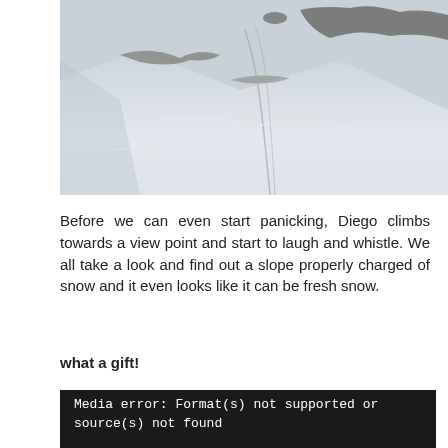[Figure (photo): Aerial view of a snow-covered mountain slope with dark rock formations and ski tracks visible in the snow]
Before we can even start panicking, Diego climbs towards a view point and start to laugh and whistle. We all take a look and find out a slope properly charged of snow and it even looks like it can be fresh snow.
what a gift!
Media error: Format(s) not supported or source(s) not found

mejs.download-file: http://www.onthebelay.com/wp-content/uploads/2017/11/VID-20171119-